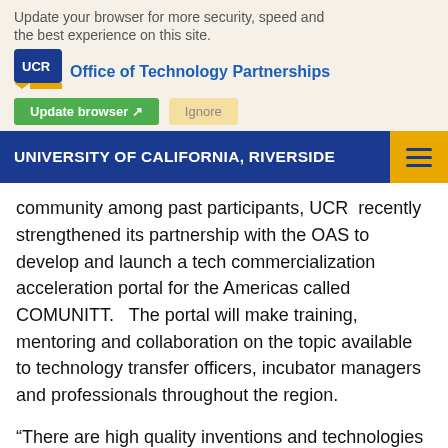Update your browser for more security, speed and the best experience on this site.
[Figure (logo): UCR logo — blue speech bubble with UCR text and yellow banner element]
Office of Technology Partnerships
Update browser  Ignore
UNIVERSITY OF CALIFORNIA, RIVERSIDE
community among past participants, UCR  recently strengthened its partnership with the OAS to develop and launch a tech commercialization acceleration portal for the Americas called COMUNITT.   The portal will make training, mentoring and collaboration on the topic available to technology transfer officers, incubator managers and professionals throughout the region.
“There are high quality inventions and technologies throughout the Americas, but most  countries lack the infrastructure and support to successfully commercialize them” said Cesar Parga, Chief Competitiveness, Innovation and Technology Section Department of Economic